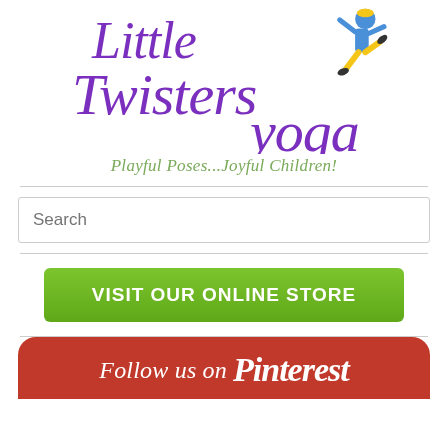[Figure (logo): Little Twisters Yoga logo with purple cursive text and a child doing a yoga pose in blue and yellow]
Playful Poses...Joyful Children!
Search
[Figure (other): Green button with white bold text: VISIT OUR ONLINE STORE]
[Figure (other): Red Pinterest banner with white italic text: Follow us on Pinterest]